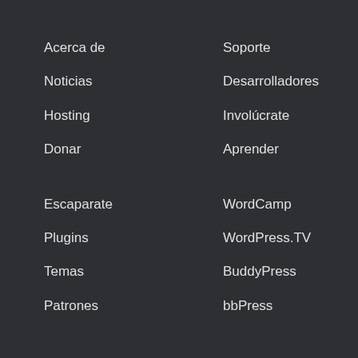Acerca de
Noticias
Hosting
Donar
Soporte
Desarrolladores
Involúcrate
Aprender
Escaparate
Plugins
Temas
Patrones
WordCamp
WordPress.TV
BuddyPress
bbPress
WordPress.com
Matt